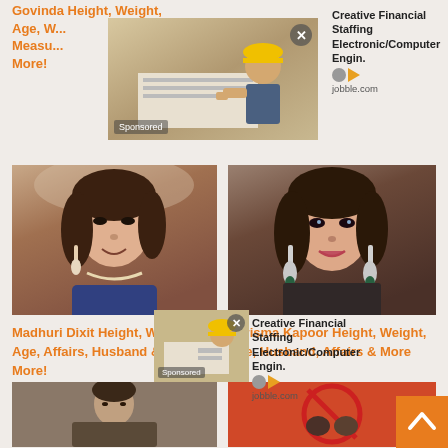Govinda Height, Weight, Age, W... Measu... More!
[Figure (photo): Sponsored advertisement image with person in hard hat, construction theme, close button visible]
Creative Financial Staffing Electronic/Computer Engin.
jobble.com
[Figure (photo): Photo of Madhuri Dixit, Bollywood actress, smiling, wearing jewelry]
Madhuri Dixit Height, Weight, Age, Affairs, Husband & Much More!
[Figure (photo): Photo of Karisma Kapoor, Bollywood actress, wearing earrings]
Karisma Kapoor Height, Weight, Age, Husband, Affairs & More
[Figure (photo): Thumbnail photo of young man]
[Figure (photo): Thumbnail photo with red arc/circle graphic overlay]
[Figure (photo): Sponsored advertisement image with person in hard hat, construction theme, close button visible]
Creative Financial Staffing Electronic/Computer Engin.
jobble.com